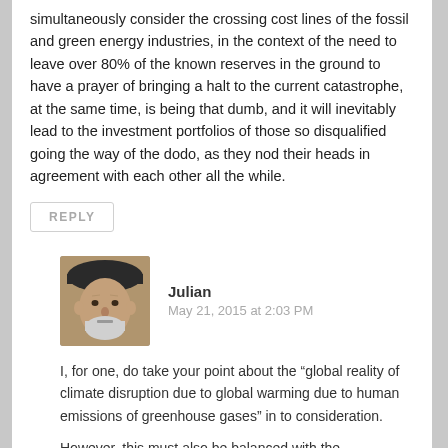simultaneously consider the crossing cost lines of the fossil and green energy industries, in the context of the need to leave over 80% of the known reserves in the ground to have a prayer of bringing a halt to the current catastrophe, at the same time, is being that dumb, and it will inevitably lead to the investment portfolios of those so disqualified going the way of the dodo, as they nod their heads in agreement with each other all the while.
REPLY
Julian
May 21, 2015 at 2:03 PM
[Figure (photo): Profile photo of a middle-aged man wearing a dark beret, with grey beard, looking directly at camera]
I, for one, do take your point about the “global reality of climate disruption due to global warming due to human emissions of greenhouse gases” in to consideration.
However, this must also be balanced with the